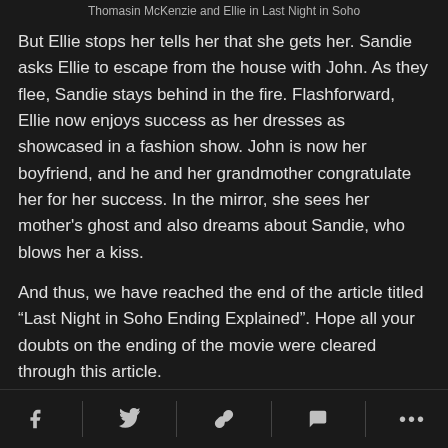Thomasin McKenzie and Ellie in Last Night in Soho
But Ellie stops her tells her that she gets her. Sandie asks Ellie to escape from the house with John. As they flee, Sandie stays behind in the fire. Flashforward, Ellie now enjoys success as her dresses as showcased in a fashion show. John is now her boyfriend, and he and her grandmother congratulate her for her success. In the mirror, she sees her mother’s ghost and also dreams about Sandie, who blows her a kiss.
And thus, we have reached the end of the article titled “Last Night in Soho Ending Explained”. Hope all your doubts on the ending of the movie were cleared through this article.
Also Read: Time Season 2 – Will We Get Another Season Of The Series?